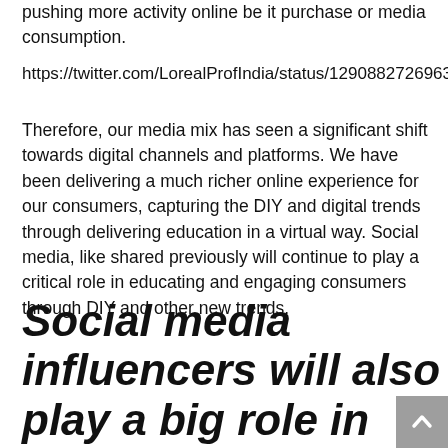pushing more activity online be it purchase or media consumption.
https://twitter.com/LorealProfIndia/status/1290882726963355650
Therefore, our media mix has seen a significant shift towards digital channels and platforms. We have been delivering a much richer online experience for our consumers, capturing the DIY and digital trends through delivering education in a virtual way. Social media, like shared previously will continue to play a critical role in educating and engaging consumers through DIY and other new trends.
Social media influencers will also play a big role in driving brand advocacy and consumer engagement.